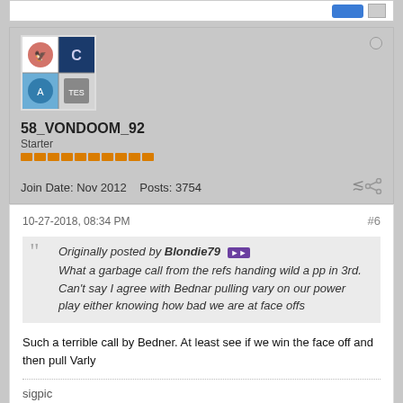[Figure (screenshot): Top bar with blue button and grey square]
[Figure (illustration): User avatar showing hockey team logos in quadrants]
58_VONDOOM_92
Starter
Join Date: Nov 2012   Posts: 3754
10-27-2018, 08:34 PM
#6
Originally posted by Blondie79 ▶▶
What a garbage call from the refs handing wild a pp in 3rd. Can't say I agree with Bednar pulling vary on our power play either knowing how bad we are at face offs
Such a terrible call by Bedner. At least see if we win the face off and then pull Varly
sigpic